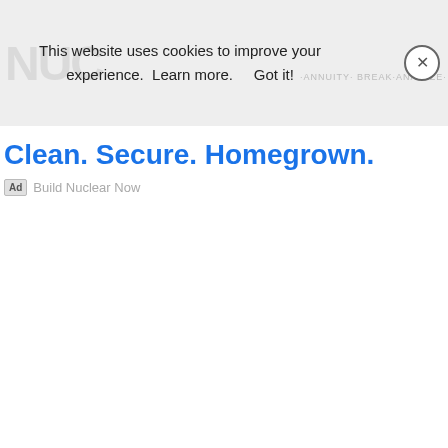[Figure (screenshot): Cookie consent banner with background watermark logo text, a close button (X in circle), and centered text reading: This website uses cookies to improve your experience. Learn more. Got it!]
Clean. Secure. Homegrown.
Ad  Build Nuclear Now